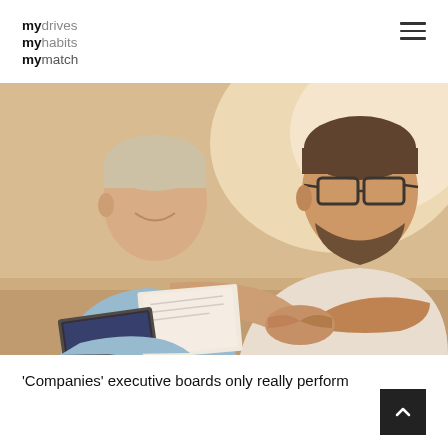mydrives myhabits mymatch
[Figure (photo): Two men shaking hands across a table in a business meeting setting, both smiling. The man on the left wears a blue shirt and the man on the right wears a white shirt and glasses. Documents and a laptop are visible on the table.]
‘Companies’ executive boards only really perform